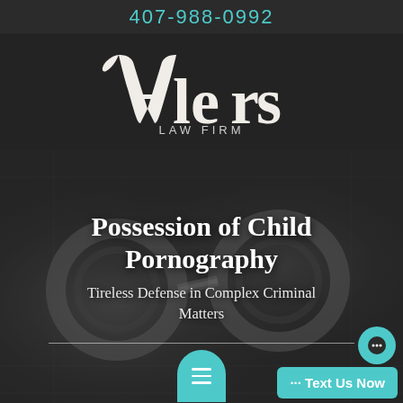407-988-0992
[Figure (logo): Alers Law Firm logo — stylized white serif 'Alers' with 'LAW FIRM' beneath, on dark background]
Possession of Child Pornography
Tireless Defense in Complex Criminal Matters
[Figure (photo): Background photo of handcuffs on fingerprint chart, dark greyscale]